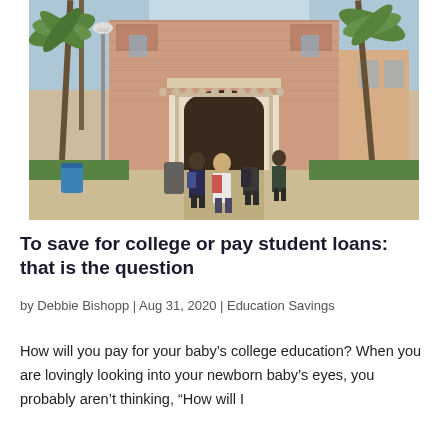[Figure (photo): Exterior of a large brick university building with ornate archway entrance, palm trees in foreground, and several students walking toward the entrance carrying backpacks, photographed in warm sunlight.]
To save for college or pay student loans: that is the question
by Debbie Bishopp | Aug 31, 2020 | Education Savings
How will you pay for your baby’s college education? When you are lovingly looking into your newborn baby’s eyes, you probably aren’t thinking, “How will I